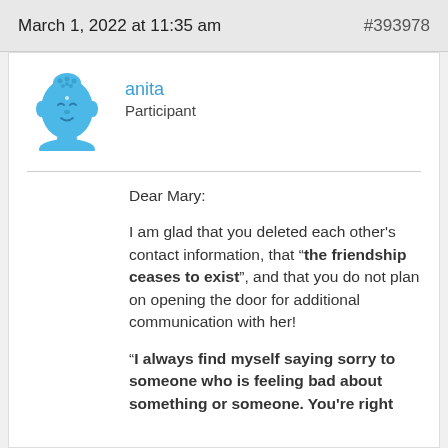March 1, 2022 at 11:35 am   #393978
[Figure (illustration): Blue Buddha avatar icon]
anita
Participant
Dear Mary:

I am glad that you deleted each other's contact information, that "the friendship ceases to exist", and that you do not plan on opening the door for additional communication with her!

"I always find myself saying sorry to someone who is feeling bad about something or someone. You're right